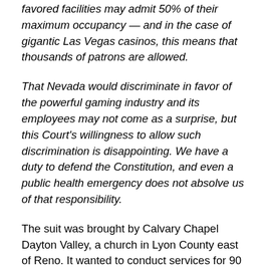favored facilities may admit 50% of their maximum occupancy — and in the case of gigantic Las Vegas casinos, this means that thousands of patrons are allowed.
That Nevada would discriminate in favor of the powerful gaming industry and its employees may not come as a surprise, but this Court's willingness to allow such discrimination is disappointing. We have a duty to defend the Constitution, and even a public health emergency does not absolve us of that responsibility.
The suit was brought by Calvary Chapel Dayton Valley, a church in Lyon County east of Reno. It wanted to conduct services for 90 congregants, about 50 percent of its fire-code capacity. According to Alito, it planned to ask attendees to adhere to proper social distancing of six feet